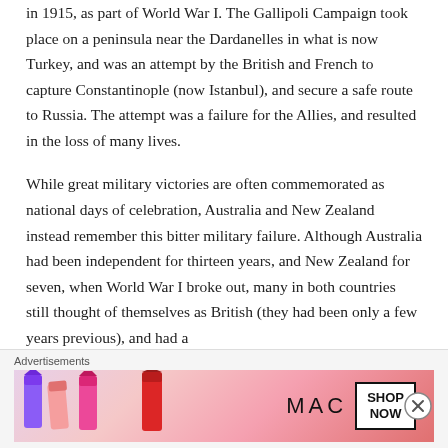in 1915, as part of World War I. The Gallipoli Campaign took place on a peninsula near the Dardanelles in what is now Turkey, and was an attempt by the British and French to capture Constantinople (now Istanbul), and secure a safe route to Russia. The attempt was a failure for the Allies, and resulted in the loss of many lives.
While great military victories are often commemorated as national days of celebration, Australia and New Zealand instead remember this bitter military failure. Although Australia had been independent for thirteen years, and New Zealand for seven, when World War I broke out, many in both countries still thought of themselves as British (they had been only a few years previous), and had a
Advertisements
[Figure (photo): MAC cosmetics advertisement showing lipsticks in purple, pink, and red shades with MAC brand text and SHOP NOW button]